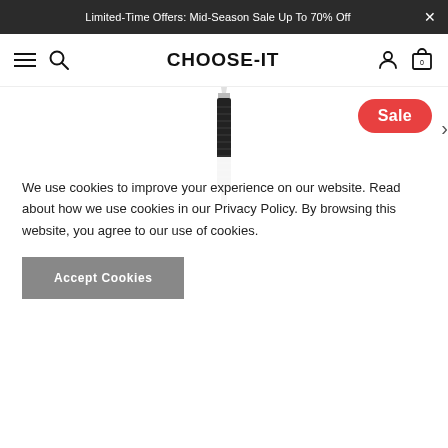Limited-Time Offers: Mid-Season Sale Up To 70% Off
CHOOSE-IT
[Figure (photo): A black eyeliner or mascara pencil/pen product shown vertically centered against a white background, with the tip pointing upward.]
Sale
We use cookies to improve your experience on our website. Read about how we use cookies in our Privacy Policy. By browsing this website, you agree to our use of cookies.
Accept Cookies